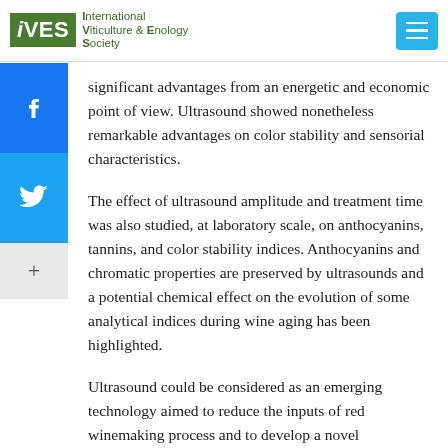IVES International Viticulture & Enology Society
significant advantages from an energetic and economic point of view. Ultrasound showed nonetheless remarkable advantages on color stability and sensorial characteristics.
The effect of ultrasound amplitude and treatment time was also studied, at laboratory scale, on anthocyanins, tannins, and color stability indices. Anthocyanins and chromatic properties are preserved by ultrasounds and a potential chemical effect on the evolution of some analytical indices during wine aging has been highlighted.
Ultrasound could be considered as an emerging technology aimed to reduce the inputs of red winemaking process and to develop a novel